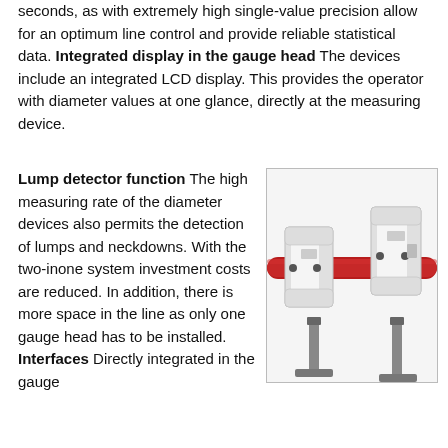seconds, as with extremely high single-value precision allow for an optimum line control and provide reliable statistical data. Integrated display in the gauge head The devices include an integrated LCD display. This provides the operator with diameter values at one glance, directly at the measuring device.
Lump detector function The high measuring rate of the diameter devices also permits the detection of lumps and neckdowns. With the two-inone system investment costs are reduced. In addition, there is more space in the line as only one gauge head has to be installed. Interfaces Directly integrated in the gauge
[Figure (photo): Industrial diameter gauge device showing two C-shaped gauge heads mounted on adjustable stands, with a red cylindrical pipe/cable passing through both gauge heads horizontally.]